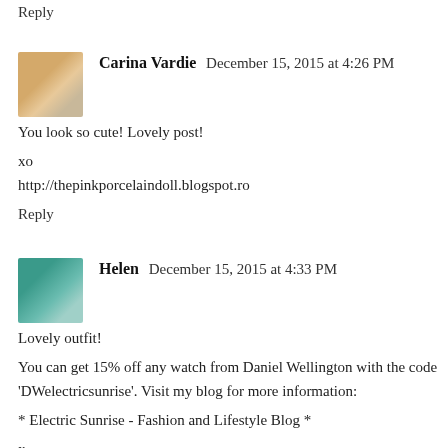Reply
[Figure (photo): Avatar photo of Carina Vardie, a woman with blonde hair]
Carina Vardie  December 15, 2015 at 4:26 PM
You look so cute! Lovely post!

xo
http://thepinkporcelaindoll.blogspot.ro
Reply
[Figure (photo): Avatar photo of Helen, a woman in a blue/white dress outdoors]
Helen  December 15, 2015 at 4:33 PM
Lovely outfit!

You can get 15% off any watch from Daniel Wellington with the code 'DWelectricsunrise'. Visit my blog for more information:

* Electric Sunrise - Fashion and Lifestyle Blog *

x
Reply